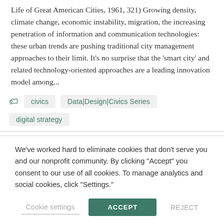Life of Great American Cities, 1961, 321) Growing density, climate change, economic instability, migration, the increasing penetration of information and communication technologies: these urban trends are pushing traditional city management approaches to their limit. It's no surprise that the 'smart city' and related technology-oriented approaches are a leading innovation model among...
civics
Data|Design|Civics Series
digital strategy
We've worked hard to eliminate cookies that don't serve you and our nonprofit community. By clicking "Accept" you consent to our use of all cookies. To manage analytics and social cookies, click "Settings."